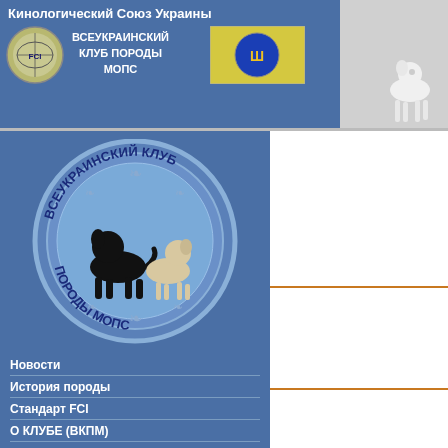Кинологический Союз Украины
[Figure (logo): FCI logo badge (globe with FCI text)]
ВСЕУКРАИНСКИЙ КЛУБ ПОРОДЫ МОПС
[Figure (logo): KSU / Ukrainian Cynological Union badge with trident symbol]
[Figure (photo): White pug dog standing, right side of header]
[Figure (logo): Circular logo: ВСЕУКРАИНСКИЙ КЛУБ ПОРОДЫ МОПС with black and fawn pug silhouettes]
Новости
История породы
Стандарт FCI
О КЛУБЕ (ВКПМ)
Региональные отделения